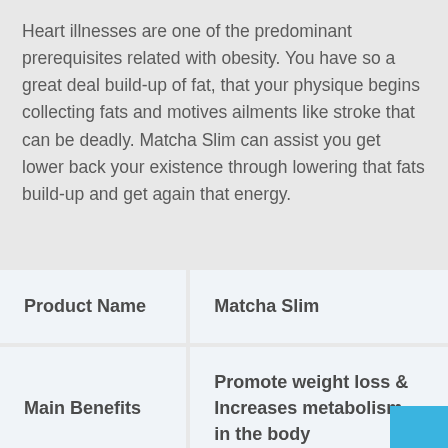Heart illnesses are one of the predominant prerequisites related with obesity. You have so a great deal build-up of fat, that your physique begins collecting fats and motives ailments like stroke that can be deadly. Matcha Slim can assist you get lower back your existence through lowering that fats build-up and get again that energy.
| Product Name | Matcha Slim |
| --- | --- |
| Main Benefits | Promote weight loss & Increases metabolism in the body |
|  |  |